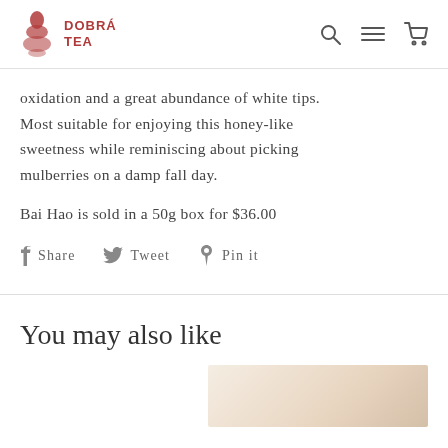DOBRÁ TEA
oxidation and a great abundance of white tips. Most suitable for enjoying this honey-like sweetness while reminiscing about picking mulberries on a damp fall day.
Bai Hao is sold in a 50g box for $36.00
Share  Tweet  Pin it
You may also like
[Figure (photo): Partial product image at bottom right, showing a light beige/cream colored tea product or packaging]